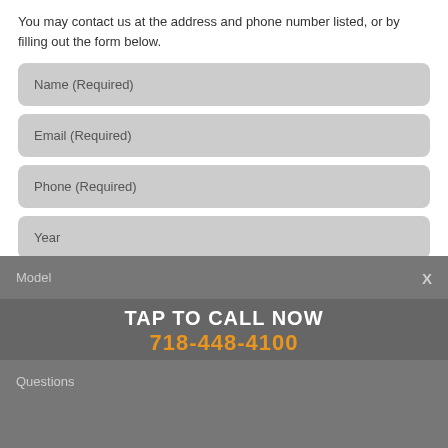You may contact us at the address and phone number listed, or by filling out the form below.
Name (Required)
Email (Required)
Phone (Required)
Year
Make
Model
TAP TO CALL NOW
718-448-4100
Questions